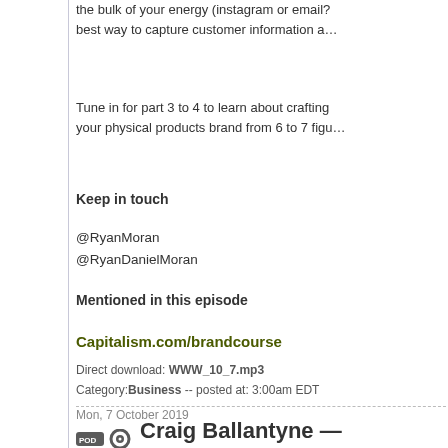the bulk of your energy (instagram or email? best way to capture customer information a…
Tune in for part 3 to 4 to learn about crafting your physical products brand from 6 to 7 figu…
Keep in touch
@RyanMoran
@RyanDanielMoran
Mentioned in this episode
Capitalism.com/brandcourse
Direct download: WWW_10_7.mp3
Category: Business -- posted at: 3:00am EDT
Mon, 7 October 2019
Craig Ballantyne — More Money #TheO…
Craig Ballantyne is a high-paid coach, the a… best-selling book, Unstoppable he is also th…